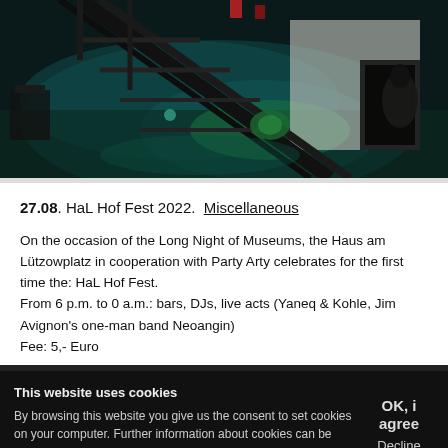[Figure (photo): Night-time photo of a courtyard or outdoor venue showing a metal scaffold/staircase structure illuminated with teal/green lighting, dark atmospheric scene]
27.08. HaL Hof Fest 2022. Miscellaneous
On the occasion of the Long Night of Museums, the Haus am Lützowplatz in cooperation with Party Arty celebrates for the first time the: HaL Hof Fest. From 6 p.m. to 0 a.m.: bars, DJs, live acts (Yaneq & Kohle, Jim Avignon's one-man band Neoangin) Fee: 5,- Euro
This website uses cookies
By browsing this website you give us the consent to set cookies on your computer. Further information about cookies can be found in the privacy statement in the imprint of this website.
OK, i agree
Decline